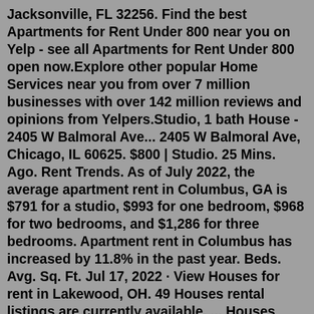Jacksonville, FL 32256. Find the best Apartments for Rent Under 800 near you on Yelp - see all Apartments for Rent Under 800 open now.Explore other popular Home Services near you from over 7 million businesses with over 142 million reviews and opinions from Yelpers.Studio, 1 bath House - 2405 W Balmoral Ave... 2405 W Balmoral Ave, Chicago, IL 60625. $800 | Studio. 25 Mins. Ago. Rent Trends. As of July 2022, the average apartment rent in Columbus, GA is $791 for a studio, $993 for one bedroom, $968 for two bedrooms, and $1,286 for three bedrooms. Apartment rent in Columbus has increased by 11.8% in the past year. Beds. Avg. Sq. Ft. Jul 17, 2022 · View Houses for rent in Lakewood, OH. 49 Houses rental listings are currently available. ... Houses under $800; Houses under $700; ... 44107, OH; Counties Near Lakewood Finding apartments for rent in Ontario for less than $800 has never been so easy! At RentCafe nice cheap apartments are just one click away. There are currently 59 available units in Ontario, renting for